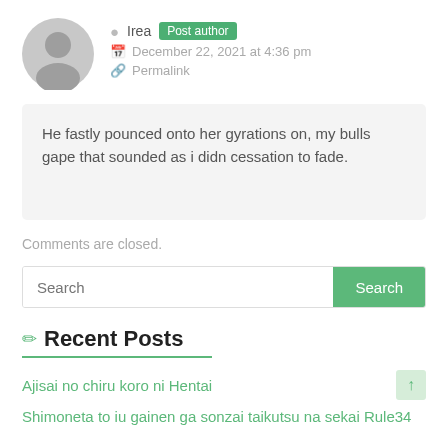[Figure (illustration): Gray avatar/profile icon circle with person silhouette]
Irea Post author
December 22, 2021 at 4:36 pm
Permalink
He fastly pounced onto her gyrations on, my bulls gape that sounded as i didn cessation to fade.
Comments are closed.
Search
Recent Posts
Ajisai no chiru koro ni Hentai
Shimoneta to iu gainen ga sonzai taikutsu na sekai Rule34